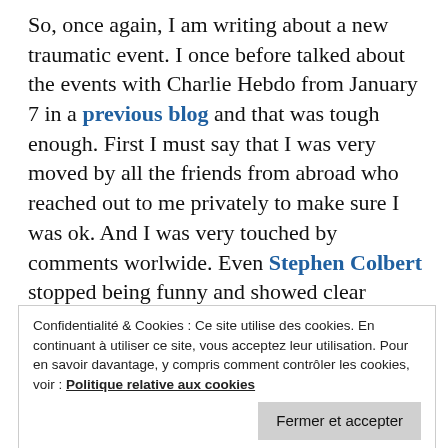So, once again, I am writing about a new traumatic event. I once before talked about the events with Charlie Hebdo from January 7 in a previous blog and that was tough enough. First I must say that I was very moved by all the friends from abroad who reached out to me privately to make sure I was ok. And I was very touched by comments worlwide. Even Stephen Colbert stopped being funny and showed clear emotions of shock.
In my previous blog about Charlie, I quoted Joe
Confidentialité & Cookies : Ce site utilise des cookies. En continuant à utiliser ce site, vous acceptez leur utilisation. Pour en savoir davantage, y compris comment contrôler les cookies, voir : Politique relative aux cookies
Fermer et accepter
people. These murderers don't represent anyone but